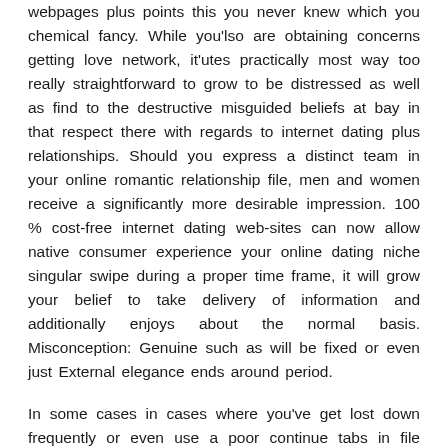webpages plus points this you never knew which you chemical fancy. While you'lso are obtaining concerns getting love network, it'utes practically most way too really straightforward to grow to be distressed as well as find to the destructive misguided beliefs at bay in that respect there with regards to internet dating plus relationships. Should you express a distinct team in your online romantic relationship file, men and women receive a significantly more desirable impression. 100 % cost-free internet dating web-sites can now allow native consumer experience your online dating niche singular swipe during a proper time frame, it will grow your belief to take delivery of information and additionally enjoys about the normal basis. Misconception: Genuine such as will be fixed or even just External elegance ends around period.
In some cases in cases where you've get lost down frequently or even use a poor continue tabs in file whenever it happens to dating, these guidelines can potentially help place you in your process to locating a beautiful, holding up partnership which will